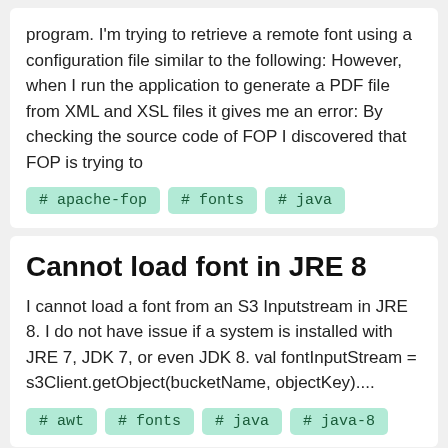program. I'm trying to retrieve a remote font using a configuration file similar to the following: However, when I run the application to generate a PDF file from XML and XSL files it gives me an error: By checking the source code of FOP I discovered that FOP is trying to
# apache-fop
# fonts
# java
Cannot load font in JRE 8
I cannot load a font from an S3 Inputstream in JRE 8. I do not have issue if a system is installed with JRE 7, JDK 7, or even JDK 8. val fontInputStream = s3Client.getObject(bucketName, objectKey)....
# awt
# fonts
# java
# java-8